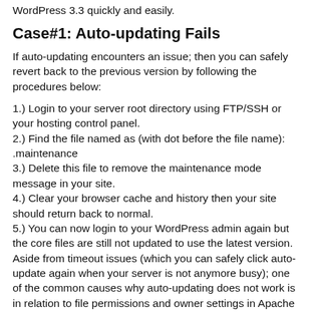WordPress 3.3 quickly and easily.
Case#1: Auto-updating Fails
If auto-updating encounters an issue; then you can safely revert back to the previous version by following the procedures below:
1.) Login to your server root directory using FTP/SSH or your hosting control panel.
2.) Find the file named as (with dot before the file name): .maintenance
3.) Delete this file to remove the maintenance mode message in your site.
4.) Clear your browser cache and history then your site should return back to normal.
5.) You can now login to your WordPress admin again but the core files are still not updated to use the latest version. Aside from timeout issues (which you can safely click auto-update again when your server is not anymore busy); one of the common causes why auto-updating does not work is in relation to file permissions and owner settings in Apache